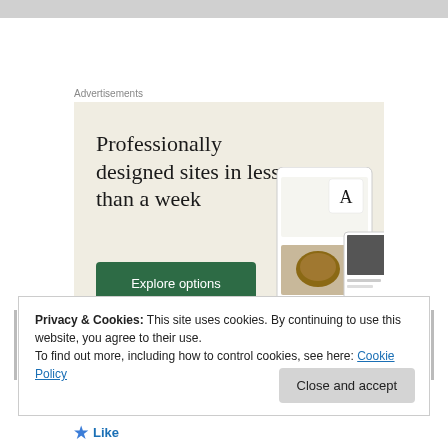Advertisements
[Figure (screenshot): Advertisement banner with beige background showing text 'Professionally designed sites in less than a week' with a dark green 'Explore options' button and mockup website screenshots on the right side.]
Privacy & Cookies: This site uses cookies. By continuing to use this website, you agree to their use.
To find out more, including how to control cookies, see here: Cookie Policy
Close and accept
Like